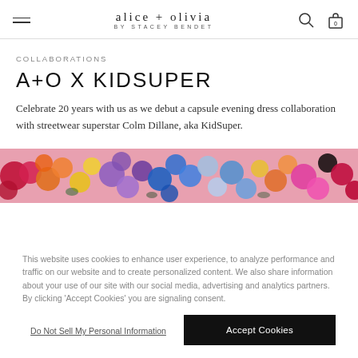alice + olivia BY STACEY BENDET
COLLABORATIONS
A+O X KIDSUPER
Celebrate 20 years with us as we debut a capsule evening dress collaboration with streetwear superstar Colm Dillane, aka KidSuper.
[Figure (photo): A colorful band of mixed flowers in red, orange, yellow, purple, blue, pink and white stretching across full width.]
This website uses cookies to enhance user experience, to analyze performance and traffic on our website and to create personalized content. We also share information about your use of our site with our social media, advertising and analytics partners. By clicking 'Accept Cookies' you are signaling consent.
Do Not Sell My Personal Information | Accept Cookies